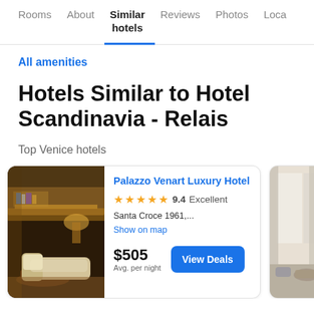Rooms | About | Similar hotels | Reviews | Photos | Loca...
All amenities
Hotels Similar to Hotel Scandinavia - Relais
Top Venice hotels
[Figure (photo): Hotel room interior with golden lighting, upholstered furniture and dark wood shelving]
Palazzo Venart Luxury Hotel
★★★★★ 9.4 Excellent
Santa Croce 1961,... Show on map
$505
Avg. per night
[View Deals]
[Figure (photo): Partial view of a second hotel room with light curtains and modern furniture]